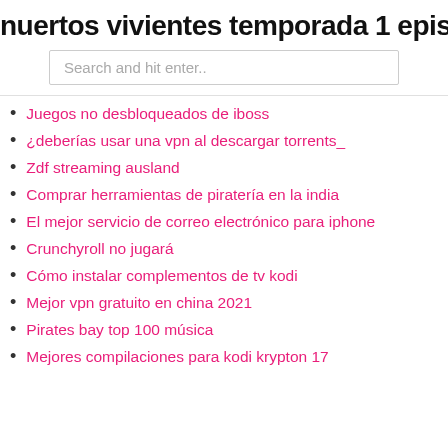nuertos vivientes temporada 1 episod
Search and hit enter..
Juegos no desbloqueados de iboss
¿deberías usar una vpn al descargar torrents_
Zdf streaming ausland
Comprar herramientas de piratería en la india
El mejor servicio de correo electrónico para iphone
Crunchyroll no jugará
Cómo instalar complementos de tv kodi
Mejor vpn gratuito en china 2021
Pirates bay top 100 música
Mejores compilaciones para kodi krypton 17